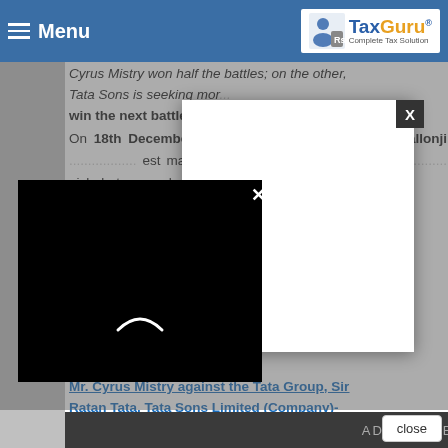Menu | TaxGuru - Complete Tax Solution
Cyrus Mistry won half the battles; on the other, Tata Sons is seeking more. win the next battle of the Board.
On 18th December 2019 (Wednesday), Mr. Cyrus Pallonji [richest man in Mumb... did he win bac... quish, but ...hat went ...d former ...and the
[Figure (screenshot): White modal dialog box with X close button in dark background]
[Figure (screenshot): Black video player modal with X close button and loading spinner]
...ment by NCLT in...peal by Mr. Cyrus Mistry against the Tata Group, Sir Ratan Tata, Tata Sons Limited (Company)-
ADVERTISEMENT
close